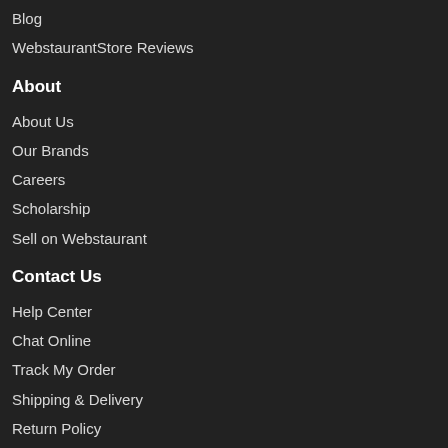Blog
WebstaurantStore Reviews
About
About Us
Our Brands
Careers
Scholarship
Sell on Webstaurant
Contact Us
Help Center
Chat Online
Track My Order
Shipping & Delivery
Return Policy
Privacy & Use
Terms of Sale
Privacy Policy
Terms of Use